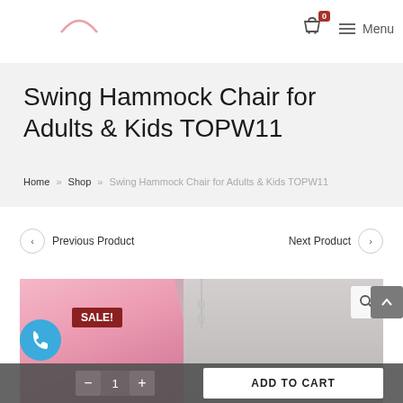Menu 0
Swing Hammock Chair for Adults & Kids TOPW11
Home » Shop » Swing Hammock Chair for Adults & Kids TOPW11
< Previous Product   Next Product >
[Figure (photo): Product image of a swing hammock chair with pink fabric and gray background, with a SALE! badge]
SALE!
- 1 + ADD TO CART